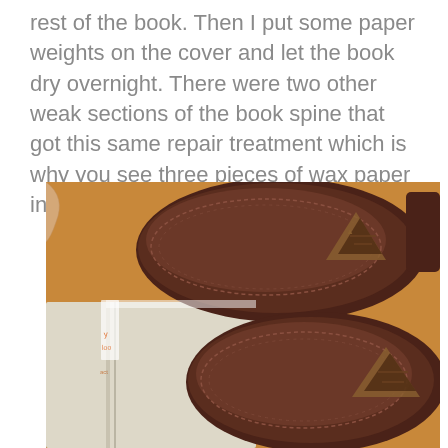rest of the book. Then I put some paper weights on the cover and let the book dry overnight. There were two other weak sections of the book spine that got this same repair treatment which is why you see three pieces of wax paper in the book in the photo below.
[Figure (photo): A close-up photograph showing dark brown leather shoes (with stitched edges and triangular brand logos) resting on top of a closed book with a light-colored cover, placed on a wooden surface. Wax paper is visible sticking out from the book's spine area.]